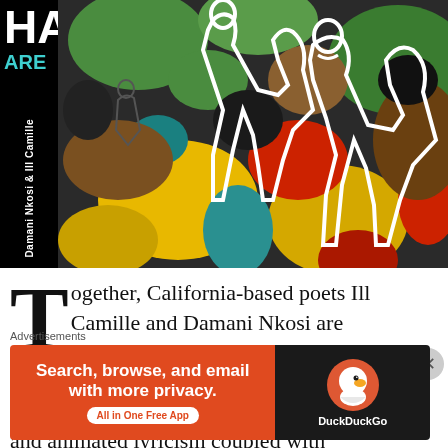[Figure (illustration): Album cover art for HARRIETT by Damani Nkosi & Ill Camille. Black spine on left with white text 'HAR' large at top, teal 'ARE' below, and vertical text 'Damani Nkosi & Ill Camille'. Main cover shows colorful painted figures in black outlines against a collage of green, yellow, red, teal, brown, and black shapes.]
Together, California-based poets Ill Camille and Damani Nkosi are HARRIETT. I've been anticipating this release for a while, especially through Ill Camille's extraordinary past work. Her visceral and animated lyricism coupled with
Advertisements
[Figure (screenshot): DuckDuckGo advertisement banner. Left orange section reads 'Search, browse, and email with more privacy. All in One Free App'. Right dark section shows DuckDuckGo duck logo and 'DuckDuckGo' text.]